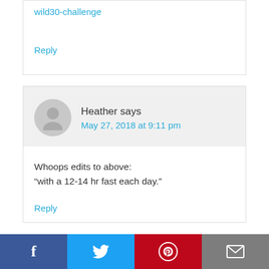wild30-challenge
Reply
Heather says
May 27, 2018 at 9:11 pm
Whoops edits to above:
“with a 12-14 hr fast each day.”
Reply